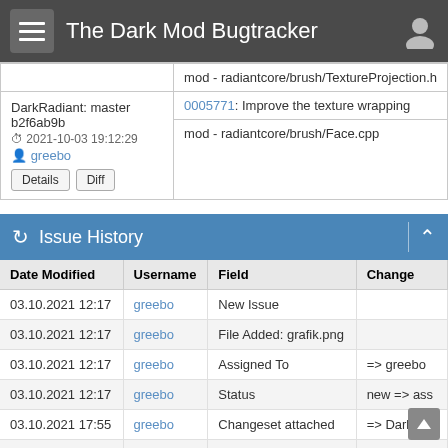The Dark Mod Bugtracker
|  |  |
| --- | --- |
|  | mod - radiantcore/brush/TextureProjection.h |
| DarkRadiant: master b2f6ab9b
2021-10-03 19:12:29
greebo
[Details] [Diff] | 0005771: Improve the texture wrapping
mod - radiantcore/brush/Face.cpp |
Issue History
| Date Modified | Username | Field | Change |
| --- | --- | --- | --- |
| 03.10.2021 12:17 | greebo | New Issue |  |
| 03.10.2021 12:17 | greebo | File Added: grafik.png |  |
| 03.10.2021 12:17 | greebo | Assigned To | => greebo |
| 03.10.2021 12:17 | greebo | Status | new => ass |
| 03.10.2021 17:55 | greebo | Changeset attached | => DarkRac |
| 03.10.2021 17:55 | greebo | Changeset attached | => DarkR |